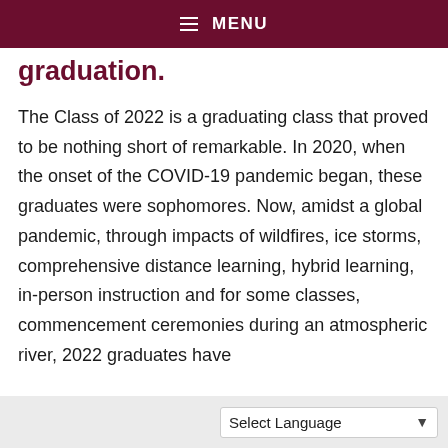≡ MENU
graduation.
The Class of 2022 is a graduating class that proved to be nothing short of remarkable. In 2020, when the onset of the COVID-19 pandemic began, these graduates were sophomores. Now, amidst a global pandemic, through impacts of wildfires, ice storms, comprehensive distance learning, hybrid learning, in-person instruction and for some classes, commencement ceremonies during an atmospheric river, 2022 graduates have
Select Language